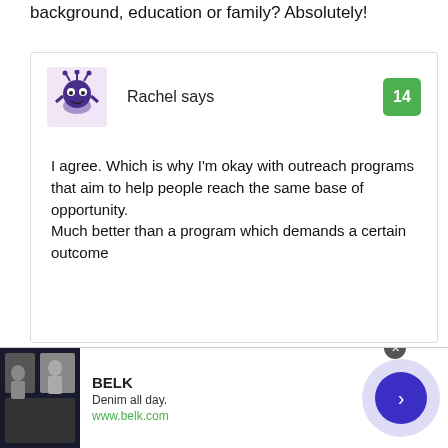background, education or family? Absolutely!
Rachel says
14
I agree. Which is why I’m okay with outreach programs that aim to help people reach the same base of opportunity.
Much better than a program which demands a certain outcome
[Figure (screenshot): Advertisement banner for BELK: Denim all day. www.belk.com with decorative navigation button]